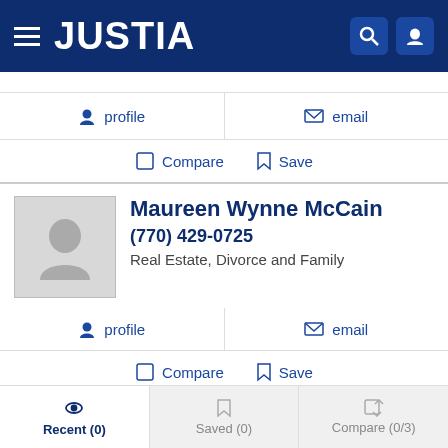JUSTIA
profile
email
Compare   Save
Maureen Wynne McCain
(770) 429-0725
Real Estate, Divorce and Family
profile
email
Compare   Save
Cecil Guy McLendon Jr
Recent (0)   Saved (0)   Compare (0/3)